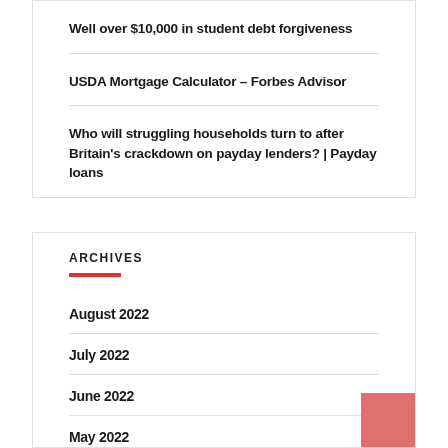Well over $10,000 in student debt forgiveness
USDA Mortgage Calculator – Forbes Advisor
Who will struggling households turn to after Britain's crackdown on payday lenders? | Payday loans
ARCHIVES
August 2022
July 2022
June 2022
May 2022